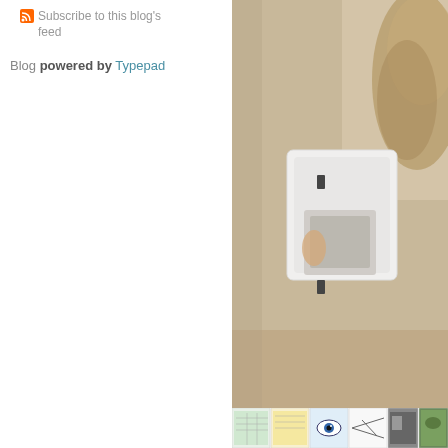Subscribe to this blog's feed
Blog powered by Typepad
[Figure (photo): Blurry close-up photo of a white electrical outlet/socket on a beige wall, with what appears to be a furry animal (cat) partially visible on the right side. A finger or hand appears to be touching the outlet.]
[Figure (photo): A strip of small thumbnail images at the bottom, showing various documents, images, and photos in miniature.]